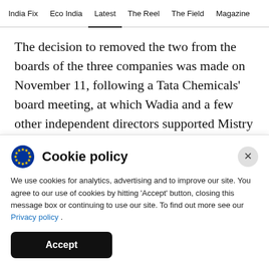India Fix  Eco India  Latest  The Reel  The Field  Magazine
The decision to removed the two from the boards of the three companies was made on November 11, following a Tata Chemicals' board meeting, at which Wadia and a few other independent directors supported Mistry as the chairman of the board. However, Wadia said Tata Sons had ousted him from companies under the group for his
[Figure (screenshot): Cookie policy overlay popup with EU cookie icon, title 'Cookie policy', explanatory text, Privacy policy link, close button, and Accept button]
We use cookies for analytics, advertising and to improve our site. You agree to our use of cookies by hitting 'Accept' button, closing this message box or continuing to use our site. To find out more see our Privacy policy .